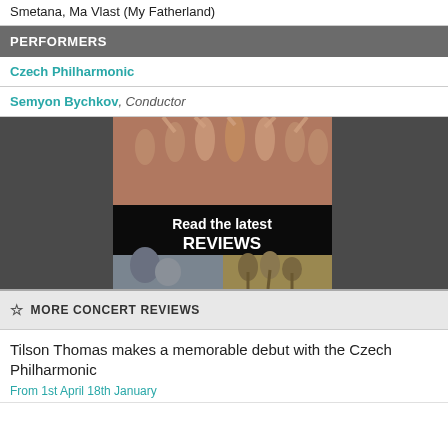Smetana, Ma Vlast (My Fatherland)
PERFORMERS
Czech Philharmonic
Semyon Bychkov, Conductor
[Figure (photo): Promotional image with text overlay reading 'Read the latest REVIEWS', showing performers and musicians]
☆ MORE CONCERT REVIEWS
Tilson Thomas makes a memorable debut with the Czech Philharmonic
From 1st April 18th January